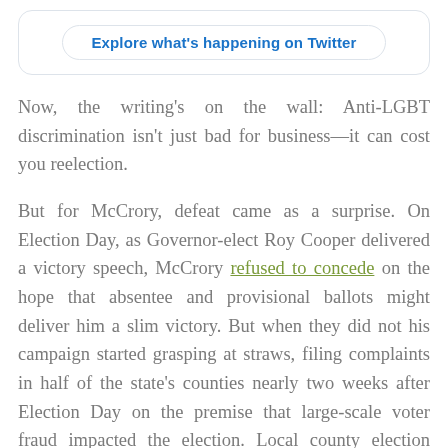[Figure (screenshot): Twitter 'Explore what's happening on Twitter' button inside a rounded rectangle card]
Now, the writing's on the wall: Anti-LGBT discrimination isn't just bad for business—it can cost you reelection.
But for McCrory, defeat came as a surprise. On Election Day, as Governor-elect Roy Cooper delivered a victory speech, McCrory refused to concede on the hope that absentee and provisional ballots might deliver him a slim victory. But when they did not his campaign started grasping at straws, filing complaints in half of the state's counties nearly two weeks after Election Day on the premise that large-scale voter fraud impacted the election. Local county election boards—all controlled by Republicans—denied his complaints. And the State